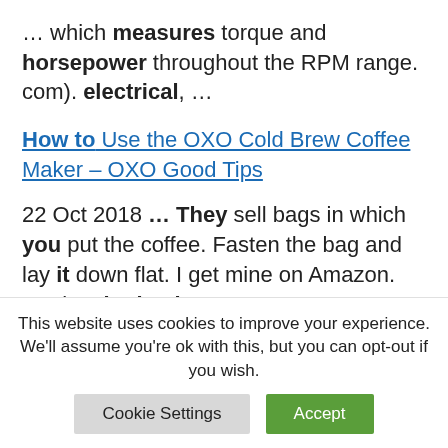… which measures torque and horsepower throughout the RPM range. com). electrical, …
How to Use the OXO Cold Brew Coffee Maker – OXO Good Tips
22 Oct 2018 … They sell bags in which you put the coffee. Fasten the bag and lay it down flat. I get mine on Amazon. Reply. Pingback: Best …
Solar on Every Roof. Electric Vehicles
This website uses cookies to improve your experience. We'll assume you're ok with this, but you can opt-out if you wish.